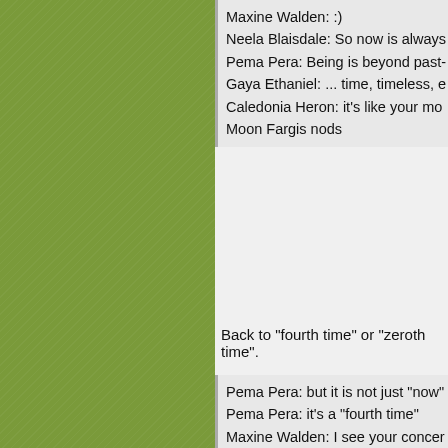Maxine Walden: :)
Neela Blaisdale: So now is always
Pema Pera: Being is beyond past-
Gaya Ethaniel: ... time, timeless, e
Caledonia Heron: it's like your mo
Moon Fargis nods
Back to "fourth time" or "zeroth time".
Pema Pera: but it is not just "now"
Pema Pera: it's a "fourth time"
Maxine Walden: I see your concer
Pema Pera: not hard to get glimps
Moon Fargis: trying to realize a ima
Neela Blaisdale: why 4?
Pema Pera: different from the usua
Pema Pera: that we grow up with
Gaya Ethaniel heard it was 11th?
Neela Blaisdale: past, present, futu
Pema Pera: yes